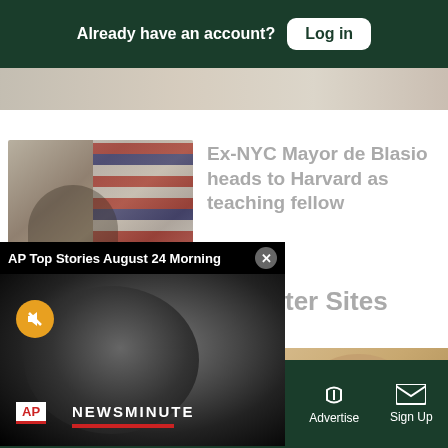Already have an account? Log in
[Figure (screenshot): Blurred/cropped image strip at top]
[Figure (photo): Thumbnail photo of man (Ex-NYC Mayor de Blasio) at podium with American flags]
Ex-NYC Mayor de Blasio heads to Harvard as teaching fellow
[Figure (screenshot): AP Top Stories August 24 Morning video popup with earth globe AP NEWSMINUTE branding]
ter Sites
[Figure (photo): Partial photo of person at bottom right]
Sections  NY Edition  Philly  Games  Advertise  Sign Up